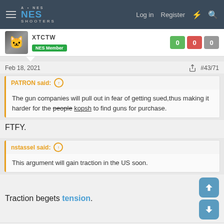NES SHOOTERS — Log in  Register
[Figure (screenshot): User avatar showing a cat photo]
NES Member  0  0  0
Feb 18, 2021  #43/71
PATRON said: ↑
The gun companies will pull out in fear of getting sued,thus making it harder for the people kopsh to find guns for purchase.
FTFY.
nstassel said: ↑
This argument will gain traction in the US soon.
Traction begets tension.